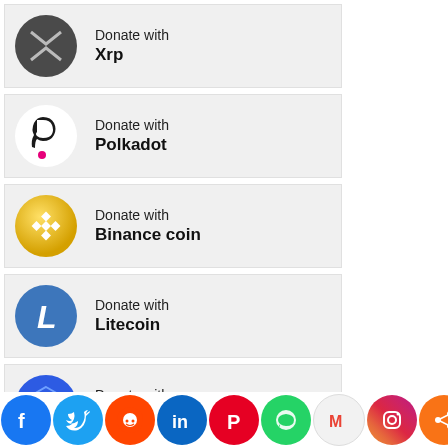Donate with Xrp
Donate with Polkadot
Donate with Binance coin
Donate with Litecoin
Donate with Chainlink
Donate with Stellar
[Figure (infographic): Social sharing icons row at bottom: Facebook, Twitter, Reddit, LinkedIn, Pinterest, WhatsApp, Gmail, Instagram, Share]